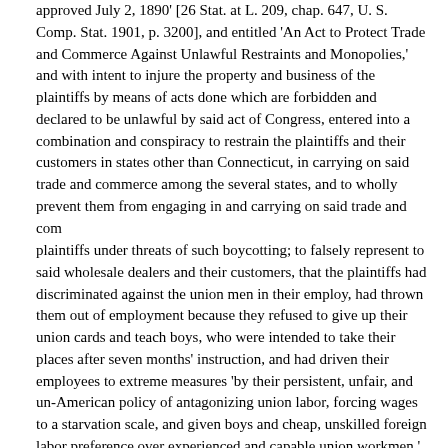approved July 2, 1890' [26 Stat. at L. 209, chap. 647, U. S. Comp. Stat. 1901, p. 3200], and entitled 'An Act to Protect Trade and Commerce Against Unlawful Restraints and Monopolies,' and with intent to injure the property and business of the plaintiffs by means of acts done which are forbidden and declared to be unlawful by said act of Congress, entered into a combination and conspiracy to restrain the plaintiffs and their customers in states other than Connecticut, in carrying on said trade and commerce among the several states, and to wholly prevent them from engaging in and carrying on said trade and com
plaintiffs under threats of such boycotting; to falsely represent to said wholesale dealers and their customers, that the plaintiffs had discriminated against the union men in their employ, had thrown them out of employment because they refused to give up their union cards and teach boys, who were intended to take their places after seven months' instruction, and had driven their employees to extreme measures 'by their persistent, unfair, and un-American policy of antagonizing union labor, forcing wages to a starvation scale, and given boys and cheap, unskilled foreign labor preference over experienced and capable union workmen,' in order to intimidate said dealers from purchasing said hats by reason of the prejudice thereby created against the plaintiffs and the hats made by them among those who might otherwise purchase them; to use the said union label of said the United